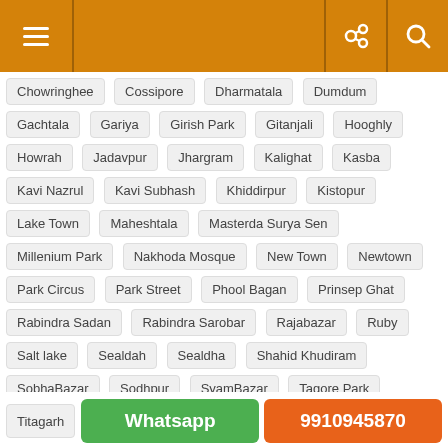Navigation bar with menu, link, and search icons
Chowringhee
Cossipore
Dharmatala
Dumdum
Gachtala
Gariya
Girish Park
Gitanjali
Hooghly
Howrah
Jadavpur
Jhargram
Kalighat
Kasba
Kavi Nazrul
Kavi Subhash
Khiddirpur
Kistopur
Lake Town
Maheshtala
Masterda Surya Sen
Millenium Park
Nakhoda Mosque
New Town
Newtown
Park Circus
Park Street
Phool Bagan
Prinsep Ghat
Rabindra Sadan
Rabindra Sarobar
Rajabazar
Ruby
Salt lake
Sealdah
Sealdha
Shahid Khudiram
SobhaBazar
Sodhpur
SyamBazar
Tagore Park
Titagarh
Whatsapp  9910945870